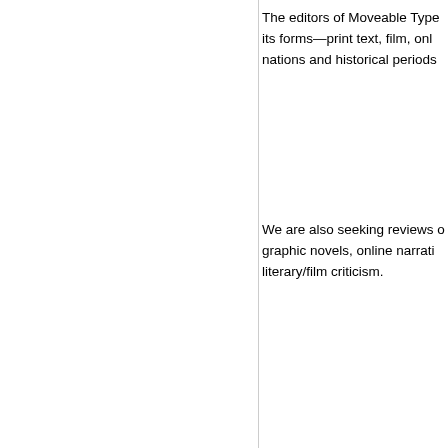The editors of Moveable Type its forms—print text, film, onl nations and historical periods
We are also seeking reviews o graphic novels, online narrati literary/film criticism.
MT
UPDATE: Preserving/N (10/10/05; BWWC, 3/2
updated: Monday, Septembe
Katherine Harris
Call for Proposals: Extension o
Roundtable Discussion: Prese
Writers